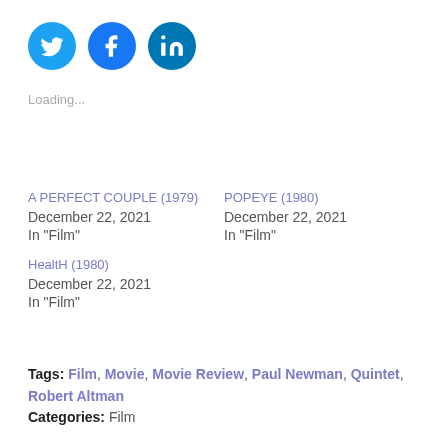[Figure (illustration): Three social media icon buttons: Twitter (bird icon, blue circle), Facebook (f icon, blue circle), LinkedIn (in icon, blue circle)]
Loading...
A PERFECT COUPLE (1979)
December 22, 2021
In "Film"
POPEYE (1980)
December 22, 2021
In "Film"
HealtH (1980)
December 22, 2021
In "Film"
Tags: Film, Movie, Movie Review, Paul Newman, Quintet, Robert Altman
Categories: Film